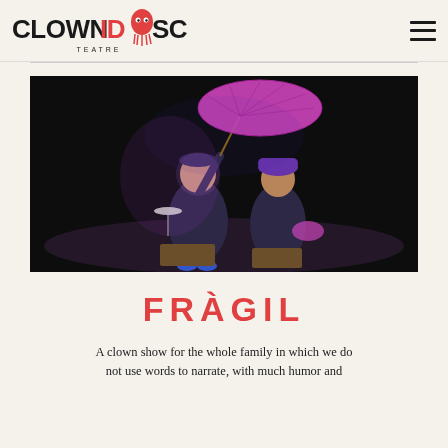[Figure (logo): Clownidoscopio Teatre logo with stylized text and red jellyfish icon]
[Figure (photo): Two performers in dark purple/blue costumes on a dark stage. One holds a large magenta/pink parasol umbrella, the other holds a folded fan. They appear to be seated on wooden boxes, looking at each other with expressive faces lit by stage lighting.]
FRÀGIL
A clown show for the whole family in which we do not use words to narrate, with much humor and